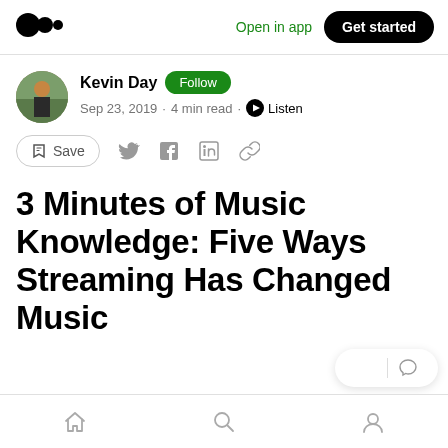Medium logo | Open in app | Get started
Kevin Day · Follow · Sep 23, 2019 · 4 min read · Listen
Save (social sharing icons)
3 Minutes of Music Knowledge: Five Ways Streaming Has Changed Music
Home | Search | Profile